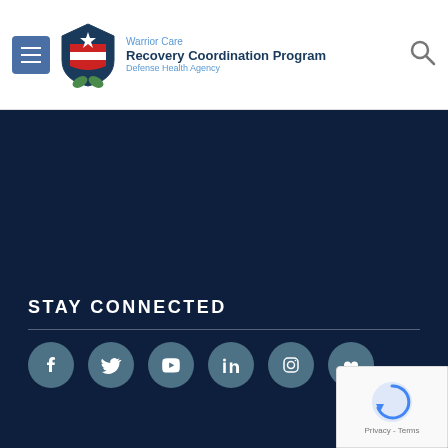[Figure (logo): Warrior Care Recovery Coordination Program Defense Health Agency logo with shield icon featuring star and eagle, header with hamburger menu and search icon]
[Figure (illustration): Dark navy blue background section filling most of the page body]
STAY CONNECTED
[Figure (infographic): Six social media icon circles: Facebook, Twitter, YouTube, LinkedIn, Instagram, Flickr on dark navy background]
[Figure (other): reCAPTCHA badge with spinning arrow logo and Privacy - Terms text]